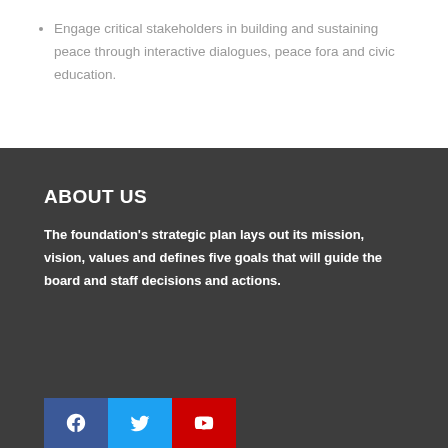Engage critical stakeholders in building and sustaining peace through interactive dialogues, peace fora and civic education.
ABOUT US
The foundation's strategic plan lays out its mission, vision, values and defines five goals that will guide the board and staff decisions and actions.
[Figure (other): Social media icons: Facebook (blue), Twitter (light blue), YouTube (red)]